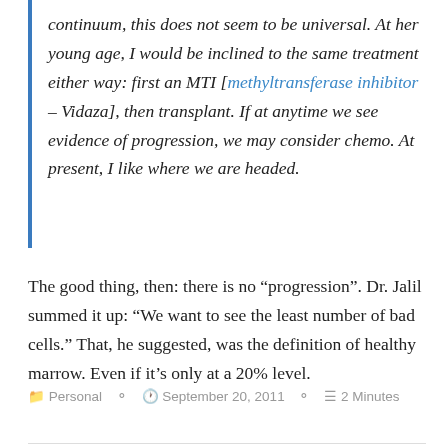continuum, this does not seem to be universal. At her young age, I would be inclined to the same treatment either way: first an MTI [methyltransferase inhibitor – Vidaza], then transplant. If at anytime we see evidence of progression, we may consider chemo. At present, I like where we are headed.
The good thing, then: there is no “progression”. Dr. Jalil summed it up: “We want to see the least number of bad cells.” That, he suggested, was the definition of healthy marrow. Even if it’s only at a 20% level.
Personal   September 20, 2011   2 Minutes